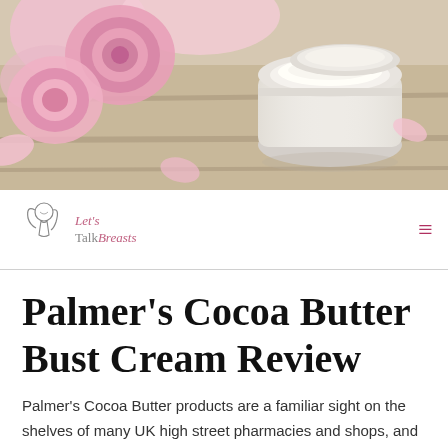[Figure (photo): Hero image showing pink roses and an open jar of cream on a wooden surface with pink petals]
[Figure (logo): Let's Talk Breasts logo with stylized woman silhouette and pink script text]
Palmer's Cocoa Butter Bust Cream Review
Palmer's Cocoa Butter products are a familiar sight on the shelves of many UK high street pharmacies and shops, and we're used to an inexpensive brand with a reasonable reputation. Palmer's Cocoa Butter Bust Cream is no exception. So is it the bargain its price suggests?